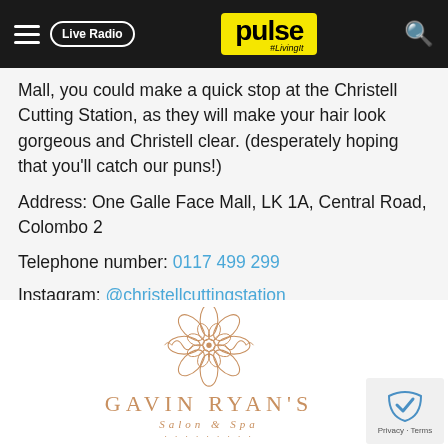pulse #LivingIt — Live Radio
Mall, you could make a quick stop at the Christell Cutting Station, as they will make your hair look gorgeous and Christell clear. (desperately hoping that you'll catch our puns!)
Address: One Galle Face Mall, LK 1A, Central Road, Colombo 2
Telephone number: 0117 499 299
Instagram: @christellcuttingstation
21. Gavin Ryan's Salon & Spa
[Figure (logo): Gavin Ryan's Salon & Spa logo with ornamental mandala design in gold/copper color, with the text GAVIN RYAN'S in spaced capital letters and Salon & Spa in italic below]